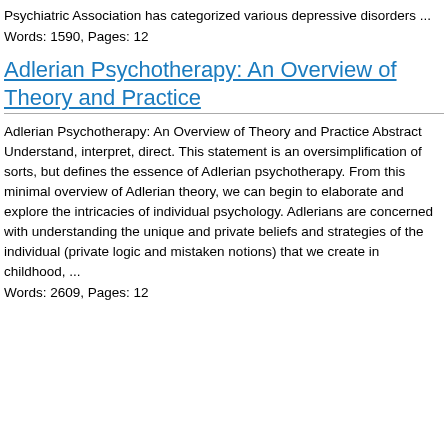Psychiatric Association has categorized various depressive disorders ...
Words: 1590, Pages: 12
Adlerian Psychotherapy: An Overview of Theory and Practice
Adlerian Psychotherapy: An Overview of Theory and Practice Abstract Understand, interpret, direct. This statement is an oversimplification of sorts, but defines the essence of Adlerian psychotherapy. From this minimal overview of Adlerian theory, we can begin to elaborate and explore the intricacies of individual psychology. Adlerians are concerned with understanding the unique and private beliefs and strategies of the individual (private logic and mistaken notions) that we create in childhood, ...
Words: 2609, Pages: 12